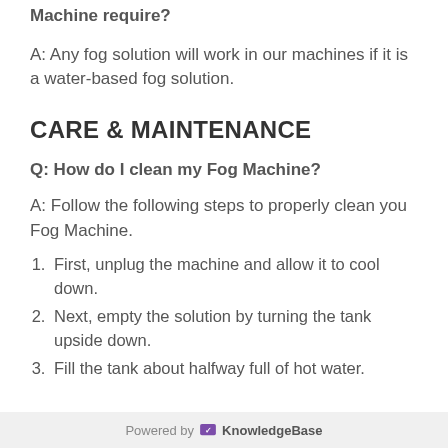Machine require?
A: Any fog solution will work in our machines if it is a water-based fog solution.
CARE & MAINTENANCE
Q: How do I clean my Fog Machine?
A: Follow the following steps to properly clean you Fog Machine.
First, unplug the machine and allow it to cool down.
Next, empty the solution by turning the tank upside down.
Fill the tank about halfway full of hot water.
Powered by KnowledgeBase